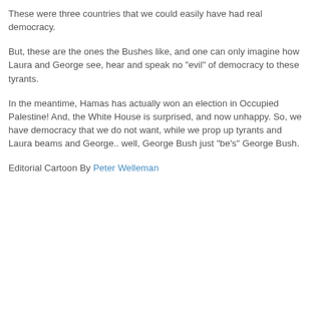These were three countries that we could easily have had real democracy.
But, these are the ones the Bushes like, and one can only imagine how Laura and George see, hear and speak no "evil" of democracy to these tyrants.
In the meantime, Hamas has actually won an election in Occupied Palestine! And, the White House is surprised, and now unhappy. So, we have democracy that we do not want, while we prop up tyrants and Laura beams and George.. well, George Bush just "be's" George Bush.
Editorial Cartoon By Peter Welleman